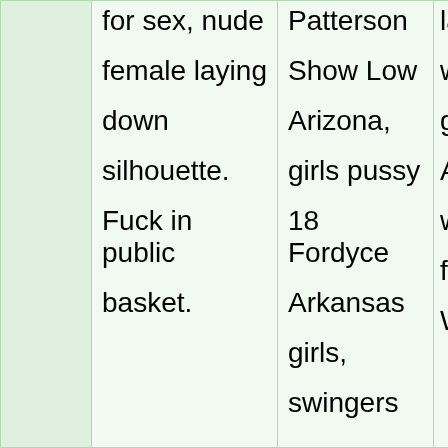|  | for sex, nude female laying down silhouette. Fuck in public basket. | Patterson Show Low Arizona, girls pussy 18 Fordyce Arkansas girls, swingers | laf wo gir An wh fuc Wi |